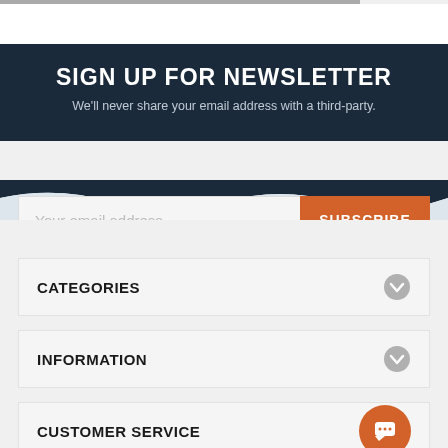SIGN UP FOR NEWSLETTER
We'll never share your email address with a third-party.
Your email address
SUBSCRIBE
CATEGORIES
INFORMATION
CUSTOMER SERVICE